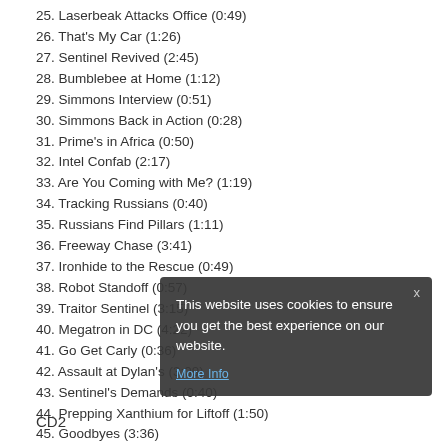25. Laserbeak Attacks Office (0:49)
26. That's My Car (1:26)
27. Sentinel Revived (2:45)
28. Bumblebee at Home (1:12)
29. Simmons Interview (0:51)
30. Simmons Back in Action (0:28)
31. Prime's in Africa (0:50)
32. Intel Confab (2:17)
33. Are You Coming with Me? (1:19)
34. Tracking Russians (0:40)
35. Russians Find Pillars (1:11)
36. Freeway Chase (3:41)
37. Ironhide to the Rescue (0:49)
38. Robot Standoff (0:57)
39. Traitor Sentinel (3:15)
40. Megatron in DC (4:22)
41. Go Get Carly (0:36)
42. Assault at Dylan's (3:09)
43. Sentinel's Demands (0:40)
44. Prepping Xanthium for Liftoff (1:50)
45. Goodbyes (3:36)
46. Shuttle Lifts Off (1:52)
47. Shuttle Explodes (0:58)
48. Tracking Dylan (0:37)
49. Dylan Arrives with Pillars/Seal Off City (4:28)
CD2